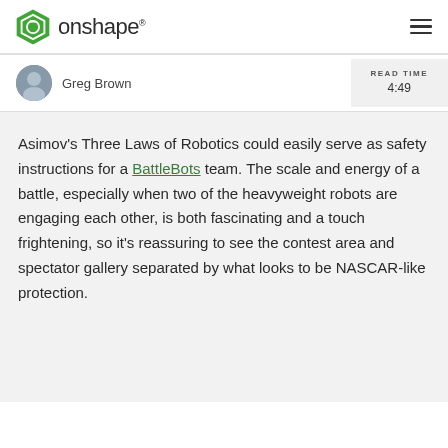onshape
Greg Brown
READ TIME
4:49
Asimov's Three Laws of Robotics could easily serve as safety instructions for a BattleBots team. The scale and energy of a battle, especially when two of the heavyweight robots are engaging each other, is both fascinating and a touch frightening, so it's reassuring to see the contest area and spectator gallery separated by what looks to be NASCAR-like protection.